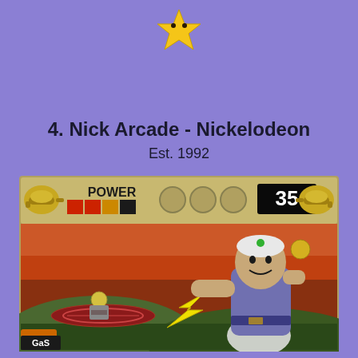[Figure (illustration): Yellow Mario star icon with eyes]
4. Nick Arcade - Nickelodeon
Est. 1992
[Figure (screenshot): Nick Arcade Nickelodeon game screenshot showing a genie character shooting lightning at a player riding a flying carpet, with POWER bar showing 35 points, genie lamp icons on each side, colored power blocks in red and yellow, and three empty circle slots. Bottom left shows Nick and GaS logos.]